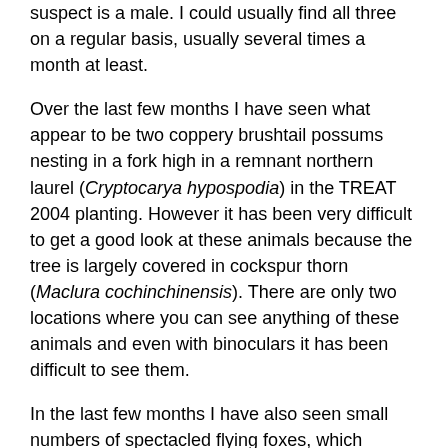suspect is a male. I could usually find all three on a regular basis, usually several times a month at least.
Over the last few months I have seen what appear to be two coppery brushtail possums nesting in a fork high in a remnant northern laurel (Cryptocarya hypospodia) in the TREAT 2004 planting. However it has been very difficult to get a good look at these animals because the tree is largely covered in cockspur thorn (Maclura cochinchinensis). There are only two locations where you can see anything of these animals and even with binoculars it has been difficult to see them.
In the last few months I have also seen small numbers of spectacled flying foxes, which appear to be